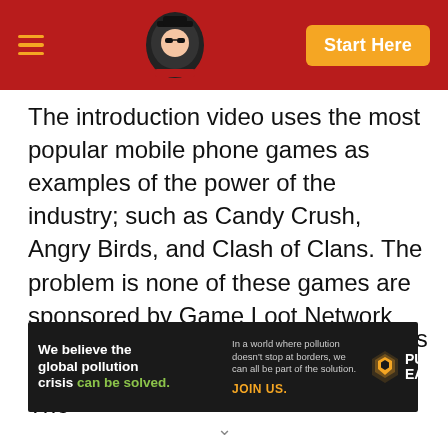Site header with hamburger menu, logo, and Start Here button
The introduction video uses the most popular mobile phone games as examples of the power of the industry; such as Candy Crush, Angry Birds, and Clash of Clans. The problem is none of these games are sponsored by Game Loot Network but they're rather examples of successful apps.
Basically, the company makes games and uploads them to the Fun Zone. The
[Figure (infographic): Pure Earth advertisement banner: 'We believe the global pollution crisis can be solved. In a world where pollution doesn't stop at borders, we can all be part of the solution. JOIN US.' with Pure Earth logo.]